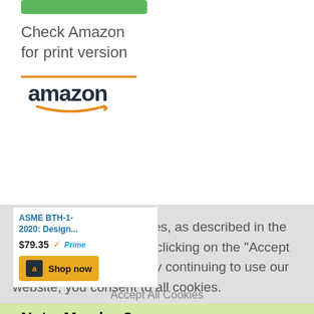[Figure (other): Green button at top of page]
Check Amazon
for print version
[Figure (logo): Amazon logo with orange arrow swoosh and book cover for 'Design of Below-the-Hook Lifting Devices' ASME BTH-1]
ASME BTH-1-2020: Design...
$79.35
[Figure (other): Shop now button with Amazon logo icon]
This website uses cookies, as described in the ANSI Privacy Policy. By clicking on the "Accept All Cookies" button, or by continuing to use our website, you consent to all cookies.
Accept All Cookies
Not a Member?